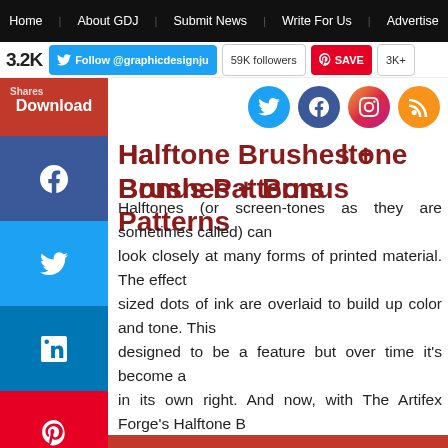Home | About GDJ | Submit News | Write For Us | Advertise
3.2K Shares | Follow @graphicdesignju | 59K followers | SAVE | 3K+
Download
Halftone Brushes + Bonus Patterns
Halftones (or screen-tones as they are sometimes called) can... look closely at many forms of printed material. The effect... sized dots of ink are overlaid to build up color and tone. This... designed to be a feature but over time it's become a... in its own right. And now, with The Artifex Forge's Halftone B... with this effect to create beautiful designs and illustrations.